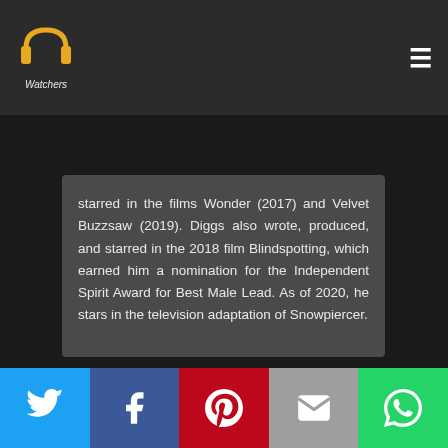PP Watchers logo and hamburger menu
starred in the films Wonder (2017) and Velvet Buzzsaw (2019). Diggs also wrote, produced, and starred in the 2018 film Blindspotting, which earned him a nomination for the Independent Spirit Award for Best Male Lead. As of 2020, he stars in the television adaptation of Snowpiercer.
Social share buttons: Twitter, Facebook, Pinterest, Email, WhatsApp